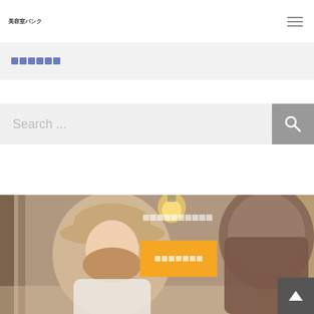美容室バンク
□□□□□□
Search ...
[Figure (photo): Two women in a beauty salon, one wearing a wide-brim hat smiling, the other with back to camera. Warm interior with columns and a lamp in background. Orange call-to-action button overlay with Japanese text squares.]